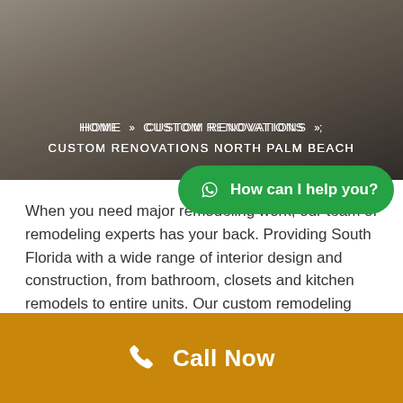[Figure (photo): Hero image of a modern interior with polished concrete floor and dark furniture]
HOME > CUSTOM RENOVATIONS > CUSTOM RENOVATIONS NORTH PALM BEACH
When you need major remodeling work, our team of remodeling experts has your back. Providing South Florida with a wide range of interior design and construction, from bathroom, closets and kitchen remodels to entire units. Our custom remodeling services can transform simple interior designs to extraordinary construction masterpieces.
Renovation – Improving and Redesigning Ho...
[Figure (other): Green WhatsApp button with phone icon and text 'How can I help you?']
Call Now